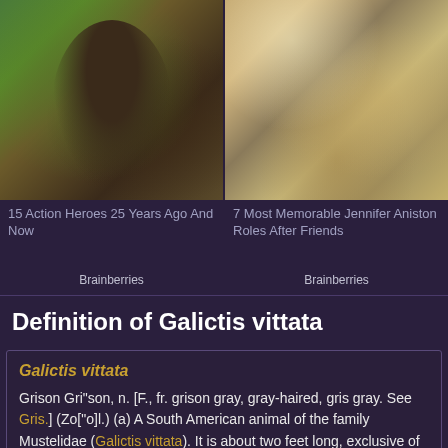[Figure (photo): Photo of a woman in warrior costume (Xena-style) with dark hair, in a jungle/forest setting.]
15 Action Heroes 25 Years Ago And Now
Brainberries
[Figure (photo): Photo of a woman sitting on a couch with a yellow Labrador dog beside her, in an indoor home setting.]
7 Most Memorable Jennifer Aniston Roles After Friends
Brainberries
Definition of Galictis vittata
Galictis vittata
Grison Gri"son, n. [F., fr. grison gray, gray-haired, gris gray. See Gris.] (Zo["o]l.) (a) A South American animal of the family Mustelidae (Galictis vittata). It is about two feet long, exclusive of the tail. Its under parts are black. Also called South American glutton. (b) A South American monkey (Lagothrix infumatus), said to be gluttonous.